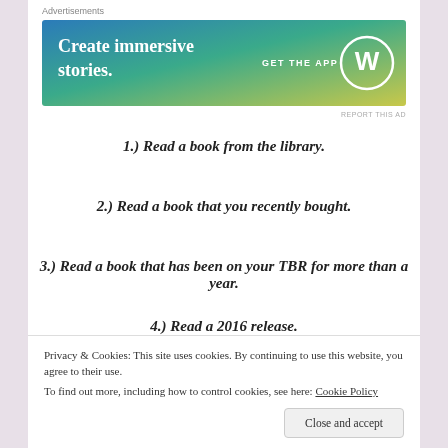Advertisements
[Figure (other): WordPress advertisement banner with gradient blue-green-yellow background. Text: 'Create immersive stories.' with 'GET THE APP' and WordPress logo on right.]
1.) Read a book from the library.
2.) Read a book that you recently bought.
3.) Read a book that has been on your TBR for more than a year.
4.) Read a 2016 release.
Privacy & Cookies: This site uses cookies. By continuing to use this website, you agree to their use.
To find out more, including how to control cookies, see here: Cookie Policy